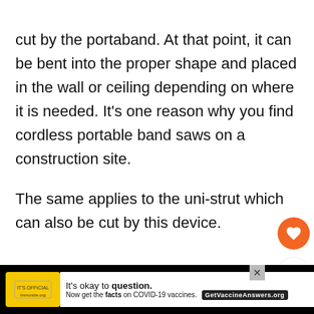cut by the portaband. At that point, it can be bent into the proper shape and placed in the wall or ceiling depending on where it is needed. It's one reason why you find cordless portable band saws on a construction site.
The same applies to the uni-strut which can also be cut by this device.
ADVERTISEMENT
[Figure (other): What's Next panel showing Masonry Saw. Uses &... with thumbnail image]
[Figure (other): Bottom advertisement bar: It's okay to question. Now get the facts on COVID-19 vaccines. GetVaccineAnswers.org]